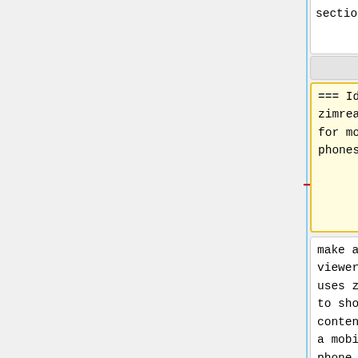content section
content section
=== Idea 2: zimreader for mobile phones ===
== Idea 2: zimreader for mobile phones ==
make a HTML viewer that uses zimlib to show contents on a mobile phone
make a HTML viewer that uses zimlib to show contents on a mobile phone
Line 137:
Line 109:
Student can decide which
Student can decide which